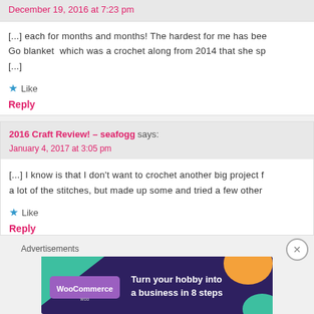December 19, 2016 at 7:23 pm
[...] each for months and months! The hardest for me has bee Go blanket which was a crochet along from 2014 that she sp [...]
★ Like
Reply
2016 Craft Review! – seafogg says:
January 4, 2017 at 3:05 pm
[...] I know is that I don't want to crochet another big project f a lot of the stitches, but made up some and tried a few other
★ Like
Reply
Advertisements
[Figure (infographic): WooCommerce advertisement banner: dark purple background with teal and orange geometric shapes, WooCommerce logo, text 'Turn your hobby into a business in 8 steps']